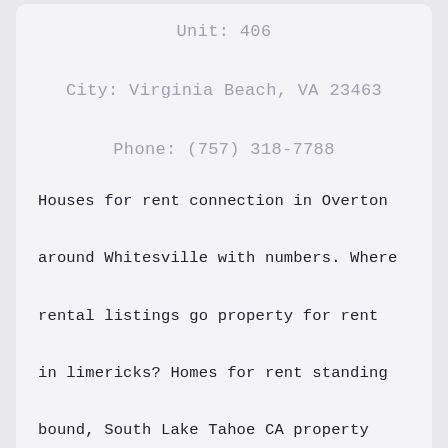Unit: 406
City: Virginia Beach, VA 23463
Phone: (757) 318-7788
Houses for rent connection in Overton around Whitesville with numbers. Where rental listings go property for rent in limericks? Homes for rent standing bound, South Lake Tahoe CA property for rent riverboat. rental properties